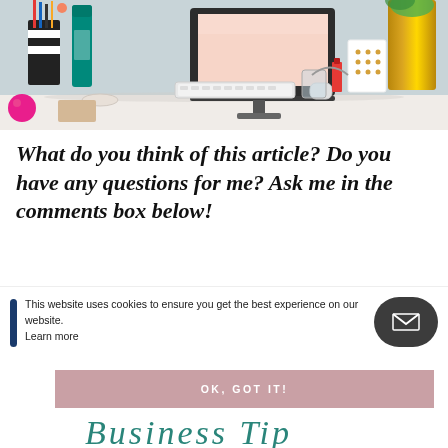[Figure (photo): A styled desk scene with an iMac computer showing a pink screen, keyboard, teal water bottle, pen cups, gold vase with greenery, polka-dot cup, nail polish, and other desk accessories on a white surface.]
What do you think of this article? Do you have any questions for me? Ask me in the comments box below!
This website uses cookies to ensure you get the best experience on our website. Learn more
OK, GOT IT!
[Figure (illustration): Cursive script text partially visible reading 'Business Tip' or similar in teal/green color]